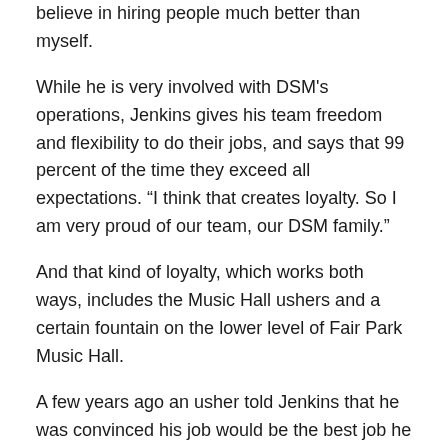believe in hiring people much better than myself.
While he is very involved with DSM's operations, Jenkins gives his team freedom and flexibility to do their jobs, and says that 99 percent of the time they exceed all expectations. “I think that creates loyalty. So I am very proud of our team, our DSM family.”
And that kind of loyalty, which works both ways, includes the Music Hall ushers and a certain fountain on the lower level of Fair Park Music Hall.
A few years ago an usher told Jenkins that he was convinced his job would be the best job he was ever going to have. But Jenkins told him no, that he would go to college, get an education and a better job. The usher, knowing he could not afford it, was convinced it would never happen.